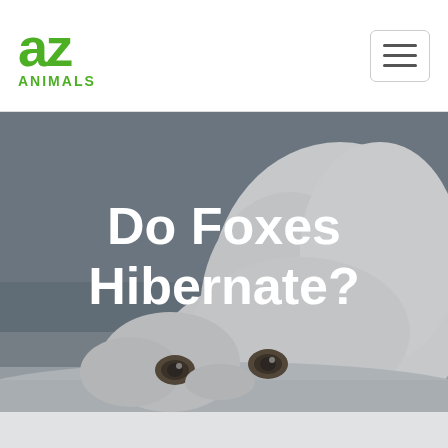[Figure (logo): AZ Animals logo — green stylized letters 'az' above the word ANIMALS in green]
[Figure (photo): A white arctic fox peeking up from behind snow, showing its eyes and top of head against a grey-blue wintry background]
Do Foxes Hibernate?